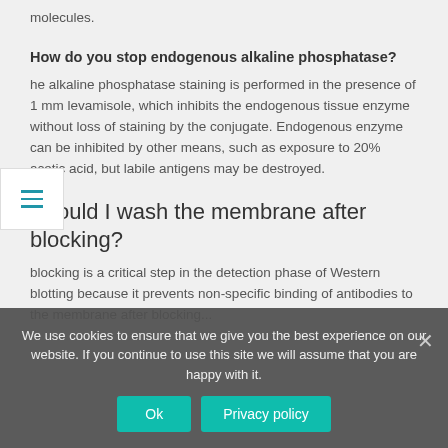molecules.
How do you stop endogenous alkaline phosphatase?
The alkaline phosphatase staining is performed in the presence of 1 mm levamisole, which inhibits the endogenous tissue enzyme without loss of staining by the conjugate. Endogenous enzyme can be inhibited by other means, such as exposure to 20% acetic acid, but labile antigens may be destroyed.
Should I wash the membrane after blocking?
blocking is a critical step in the detection phase of Western blotting because it prevents non-specific binding of antibodies to the membrane after blocking...
We use cookies to ensure that we give you the best experience on our website. If you continue to use this site we will assume that you are happy with it.